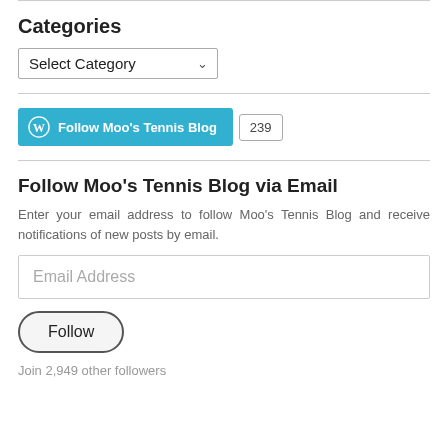Categories
[Figure (screenshot): Dropdown selector labeled 'Select Category' with a chevron arrow]
[Figure (screenshot): WordPress Follow button in teal/blue with 'Follow Moo's Tennis Blog' text and a count badge showing 239]
Follow Moo's Tennis Blog via Email
Enter your email address to follow Moo's Tennis Blog and receive notifications of new posts by email.
[Figure (screenshot): Email Address input field placeholder]
[Figure (screenshot): Follow button with rounded pill shape]
Join 2,949 other followers